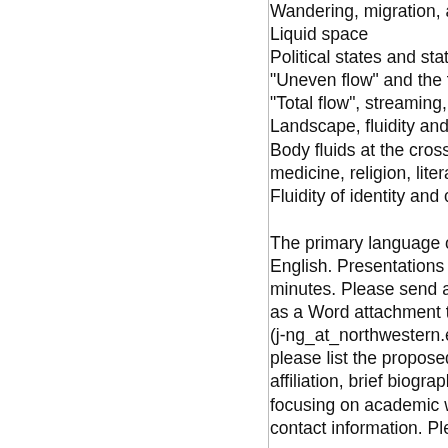Wandering, migration, a…
Liquid space
Political states and state…
"Uneven flow" and the tr…
"Total flow", streaming, a…
Landscape, fluidity and v…
Body fluids at the crossro…
medicine, religion, litera…
Fluidity of identity and c…
The primary language of the conference is English. Presentations should be 20 minutes. Please send an abstract (300 words) as a Word attachment to Jennifer Neighbors (j-ng_at_northwestern.edu). In your abstract, please list the proposed title, name, institutional affiliation, brief biographical statement focusing on academic work, and contact information. Plea…